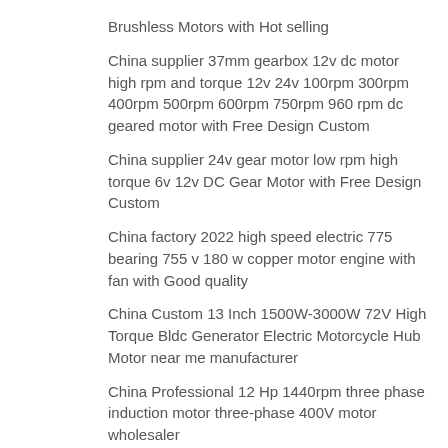Brushless Motors with Hot selling
China supplier 37mm gearbox 12v dc motor high rpm and torque 12v 24v 100rpm 300rpm 400rpm 500rpm 600rpm 750rpm 960 rpm dc geared motor with Free Design Custom
China supplier 24v gear motor low rpm high torque 6v 12v DC Gear Motor with Free Design Custom
China factory 2022 high speed electric 775 bearing 755 v 180 w copper motor engine with fan with Good quality
China Custom 13 Inch 1500W-3000W 72V High Torque Bldc Generator Electric Motorcycle Hub Motor near me manufacturer
China Professional 12 Hp 1440rpm three phase induction motor three-phase 400V motor wholesaler
China wholesaler Cotter type chain near me manufacturer